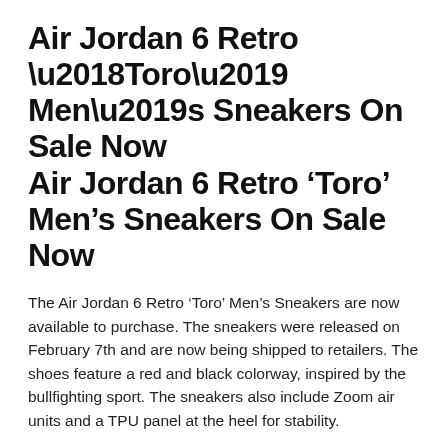Air Jordan 6 Retro ‘Toro’ Men’s Sneakers On Sale Now
The Air Jordan 6 Retro ‘Toro’ Men’s Sneakers are now available to purchase. The sneakers were released on February 7th and are now being shipped to retailers. The shoes feature a red and black colorway, inspired by the bullfighting sport. The sneakers also include Zoom air units and a TPU panel at the heel for stability.
The Toro sneakers are the latest addition to the Air Jordan line, and continue the trend of popular, bold designs. They have already been met with positive reactions online, with many fans anxious to get their hands on a pair. If you’re looking to buy Air Jordans online, be sure to check out airjordan6retro.com for great deals on the latest releases!